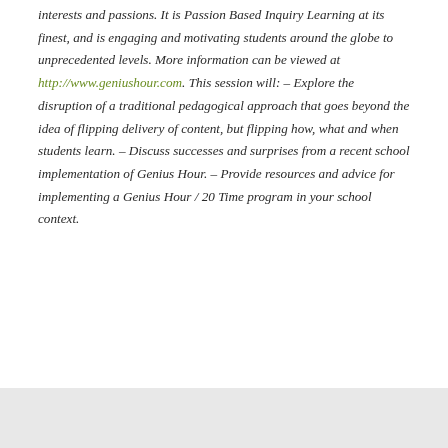interests and passions. It is Passion Based Inquiry Learning at its finest, and is engaging and motivating students around the globe to unprecedented levels. More information can be viewed at http://www.geniushour.com. This session will: – Explore the disruption of a traditional pedagogical approach that goes beyond the idea of flipping delivery of content, but flipping how, what and when students learn. – Discuss successes and surprises from a recent school implementation of Genius Hour. – Provide resources and advice for implementing a Genius Hour / 20 Time program in your school context.